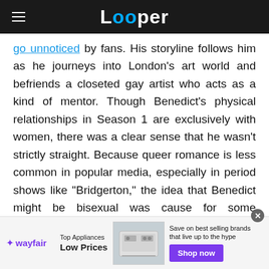Looper
go unnoticed by fans. His storyline follows him as he journeys into London's art world and befriends a closeted gay artist who acts as a kind of mentor. Though Benedict's physical relationships in Season 1 are exclusively with women, there was a clear sense that he wasn't strictly straight. Because queer romance is less common in popular media, especially in period shows like "Bridgerton," the idea that Benedict might be bisexual was cause for some excitement.
[Figure (infographic): Wayfair advertisement banner: Top Appliances Low Prices, with appliance image and Shop now button]